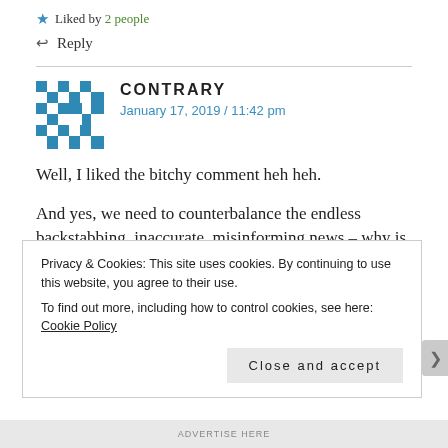★ Liked by 2 people
↩ Reply
CONTRARY
January 17, 2019 / 11:42 pm
Well, I liked the bitchy comment heh heh.
And yes, we need to counterbalance the endless backstabbing, inaccurate, misinforming news – why is it so bad to look at the positive aspects, what is it that galls some people so much? It's like they want everything to be grim – is
Privacy & Cookies: This site uses cookies. By continuing to use this website, you agree to their use.
To find out more, including how to control cookies, see here: Cookie Policy
Close and accept